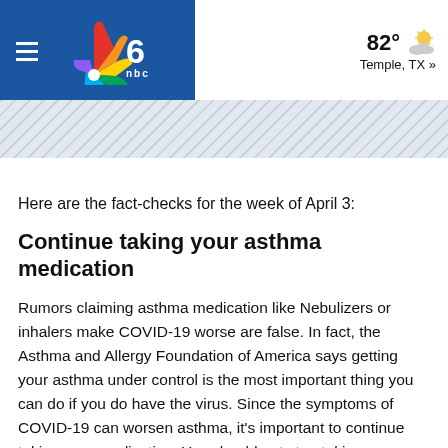NBC 6 | 82° Temple, TX »
Here are the fact-checks for the week of April 3:
Continue taking your asthma medication
Rumors claiming asthma medication like Nebulizers or inhalers make COVID-19 worse are false. In fact, the Asthma and Allergy Foundation of America says getting your asthma under control is the most important thing you can do if you do have the virus. Since the symptoms of COVID-19 can worsen asthma, it's important to continue taking your medication. You should not stop taking your medication without talking to your healthcare provider first.